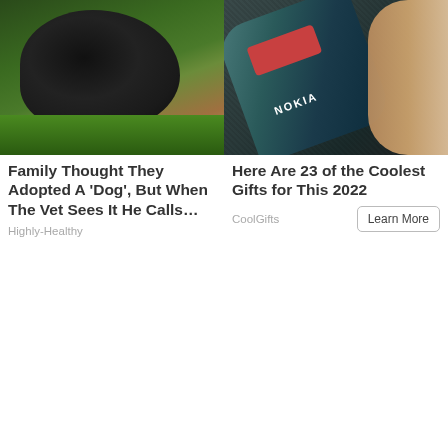[Figure (photo): Black dog (possibly a bear or large exotic animal) standing in grass outdoors]
Family Thought They Adopted A 'Dog', But When The Vet Sees It He Calls…
Highly-Healthy
[Figure (photo): Close-up of a Nokia mobile phone being held by a finger, showing a temperature reading display]
Here Are 23 of the Coolest Gifts for This 2022
CoolGifts
Learn More